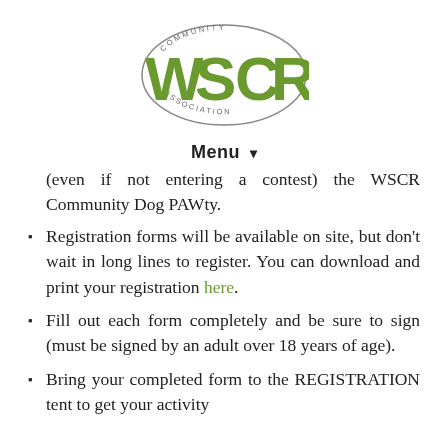[Figure (logo): WSCR Community Association logo — oval shape with 'COMMUNITY' and 'ASSOCIATION' text around the border, large green 'WSCR' letters in the center]
Menu ▾
(even if not entering a contest) the WSCR Community Dog PAWty.
Registration forms will be available on site, but don't wait in long lines to register. You can download and print your registration here.
Fill out each form completely and be sure to sign (must be signed by an adult over 18 years of age).
Bring your completed form to the REGISTRATION tent to get your activity